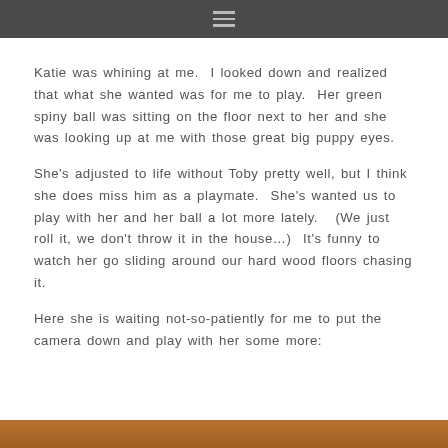≡
Katie was whining at me.  I looked down and realized that what she wanted was for me to play.  Her green spiny ball was sitting on the floor next to her and she was looking up at me with those great big puppy eyes.
She's adjusted to life without Toby pretty well, but I think she does miss him as a playmate.  She's wanted us to play with her and her ball a lot more lately.  (We just roll it, we don't throw it in the house…)  It's funny to watch her go sliding around our hard wood floors chasing it.
Here she is waiting not-so-patiently for me to put the camera down and play with her some more:
[Figure (photo): Bottom portion of a photo showing a dog, partially visible at the bottom of the page]